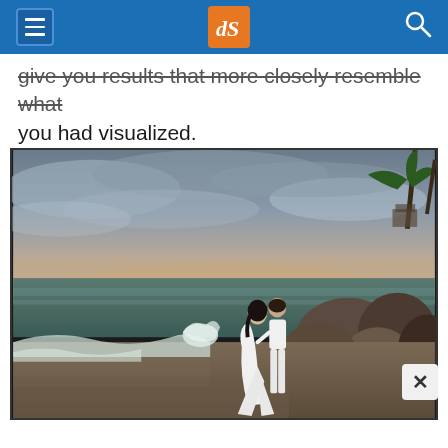dPS navigation header with hamburger menu, dPS logo, and search icon
give you results that more closely resemble what you had visualized.
[Figure (photo): A couple dressed in white standing on a beach with rocky shoreline, ocean waves, dramatic cloudy sky at dusk, and palm trees in the background.]